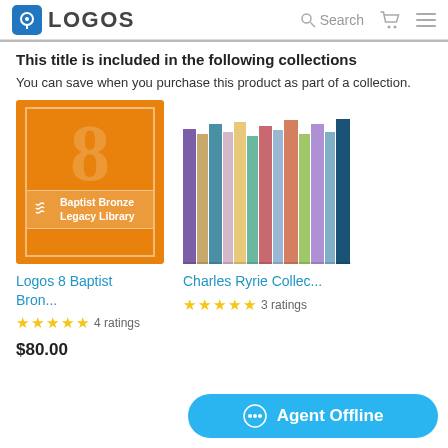LOGOS   Search
This title is included in the following collections
You can save when you purchase this product as part of a collection.
[Figure (illustration): Orange square cover for Baptist Bronze Legacy Library with wavy lines icon and large ghosted '8']
[Figure (photo): Stack of books for Charles Ryrie Collection]
Logos 8 Baptist Bron...
Charles Ryrie Collec...
4 ratings
3 ratings
$80.00
Agent Offline